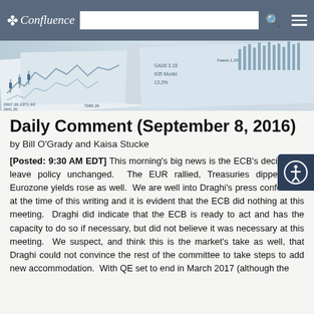Confluence
[Figure (photo): Financial charts and printed documents/newspapers with stock market data, bar charts, and financial figures visible.]
Daily Comment (September 8, 2016)
by Bill O'Grady and Kaisa Stucke
[Posted: 9:30 AM EDT] This morning's big news is the ECB's decision to leave policy unchanged. The EUR rallied, Treasuries dipped and Eurozone yields rose as well. We are well into Draghi's press conference at the time of this writing and it is evident that the ECB did nothing at this meeting. Draghi did indicate that the ECB is ready to act and has the capacity to do so if necessary, but did not believe it was necessary at this meeting. We suspect, and think this is the market's take as well, that Draghi could not convince the rest of the committee to take steps to add new accommodation. With QE set to end in March 2017 (although the